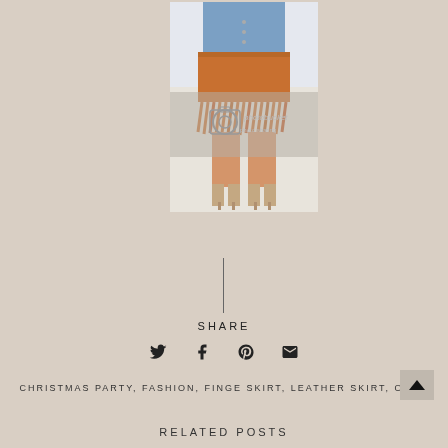[Figure (photo): Woman wearing an orange/tan suede fringe mini skirt with a denim shirt and nude heeled sandals. A photobucket watermark is overlaid on part of the image.]
SHARE
[Figure (other): Social share icons: Twitter bird, Facebook f, Pinterest p, email envelope]
CHRISTMAS PARTY, FASHION, FINGE SKIRT, LEATHER SKIRT, OOTD
RELATED POSTS